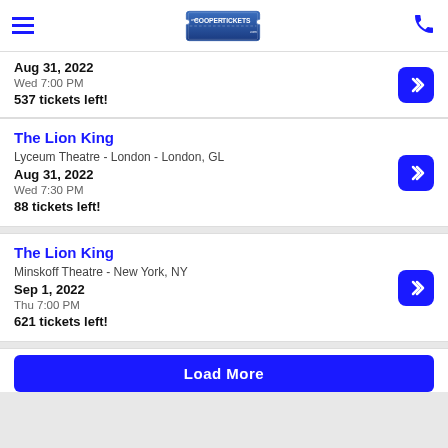Cooper Tickets (www.coopertickets.com)
Aug 31, 2022
Wed 7:00 PM
537 tickets left!
The Lion King
Lyceum Theatre - London - London, GL
Aug 31, 2022
Wed 7:30 PM
88 tickets left!
The Lion King
Minskoff Theatre - New York, NY
Sep 1, 2022
Thu 7:00 PM
621 tickets left!
Load More